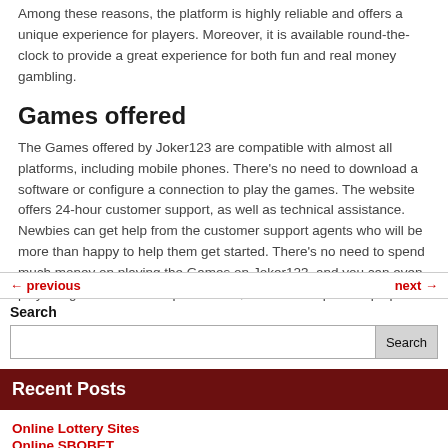Among these reasons, the platform is highly reliable and offers a unique experience for players. Moreover, it is available round-the-clock to provide a great experience for both fun and real money gambling.
Games offered
The Games offered by Joker123 are compatible with almost all platforms, including mobile phones. There's no need to download a software or configure a connection to play the games. The website offers 24-hour customer support, as well as technical assistance. Newbies can get help from the customer support agents who will be more than happy to help them get started. There's no need to spend much money on playing the Games on Joker123, and you can even play the games from multiple devices, like a desktop and laptop.
← previous   next →
Search
Recent Posts
Online Lottery Sites
Online SBOBET